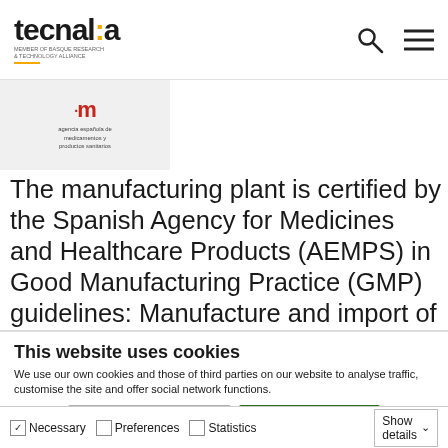tecnalia — MEMBER OF BASQUE RESEARCH & TECHNOLOGY ALLIANCE
[Figure (logo): Agencia española de medicamentos y productos sanitarios (AEMPS) logo — red 'am' letters with dot, text below]
The manufacturing plant is certified by the Spanish Agency for Medicines and Healthcare Products (AEMPS) in Good Manufacturing Practice (GMP) guidelines: Manufacture and import of pharmaceuticals for non-sterile human use, including psychotropic and narcotic substances / Manufacture and import
This website uses cookies
We use our own cookies and those of third parties on our website to analyse traffic, customise the site and offer social network functions.
Enable cookie selection   Enable all cookies
✓ Necessary   Preferences   Statistics   Marketing   Show details